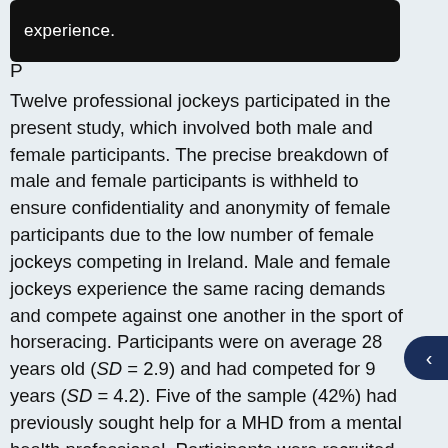experience.
P[articipants]
Twelve professional jockeys participated in the present study, which involved both male and female participants. The precise breakdown of male and female participants is withheld to ensure confidentiality and anonymity of female participants due to the low number of female jockeys competing in Ireland. Male and female jockeys experience the same racing demands and compete against one another in the sport of horseracing. Participants were on average 28 years old (SD = 2.9) and had competed for 9 years (SD = 4.2). Five of the sample (42%) had previously sought help for a MHD from a mental health professional. Participants were recruited via online unpaid advertisements on social media (e.g., Twitter) and word of mouth by a gatekeeper in the form of the Irish Horseracing Regulatory Board Senior